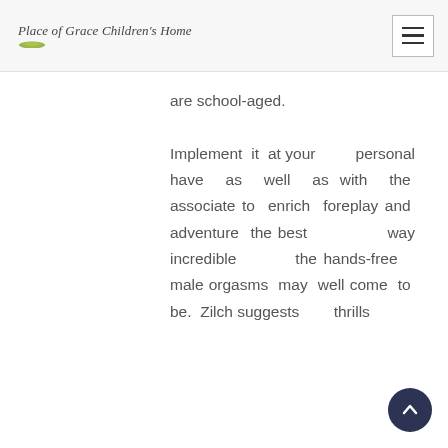Place of Grace Children's Home
are school-aged.

Implement it at your personal have as well as with the associate to enrich foreplay and adventure the best way incredible the hands-free male orgasms may well come to be. Zilch suggests thrills